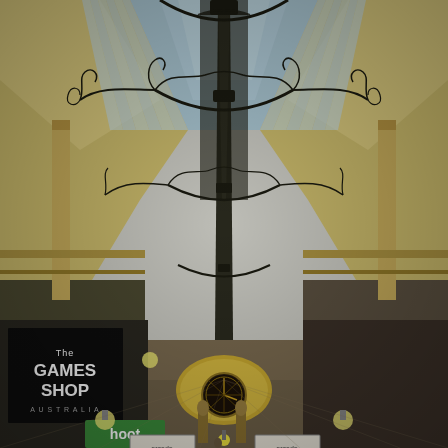[Figure (photo): Interior photograph of the Royal Arcade in Melbourne, Australia. The image shows a long ornate Victorian shopping arcade with an arched glass and iron skylight roof running down the centre. Decorative wrought-iron scrollwork frames each roof arch section. The walls are cream/yellow coloured with classical architectural detailing. Globe pendant lights hang from the sides. On the left ground level is a black-fronted shop with white text reading 'The GAMES SHOP'. A 'hoot' green sign hangs on the left side. On the right side hangs a framed sign. At the far end of the arcade is a large clock and ornate arch with a statue. The floor perspective recedes into the distance.]